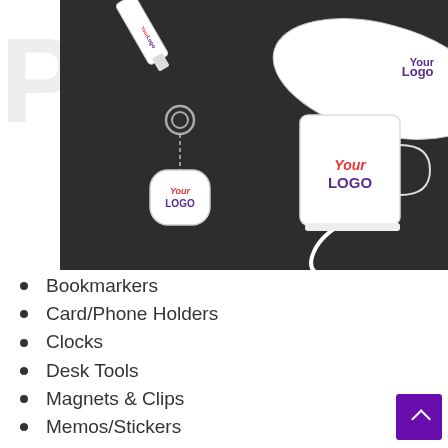[Figure (photo): Promotional merchandise items on dark background including an umbrella, USB drive, keychain with coin purse with 'Your LOGO' text, and a white mug with 'Your LOGO' text. Large grey 'PRO' letters visible on left side.]
Bookmarkers
Card/Phone Holders
Clocks
Desk Tools
Magnets & Clips
Memos/Stickers
Coasters
Soup Mugs
Visors
Personal Care Kits